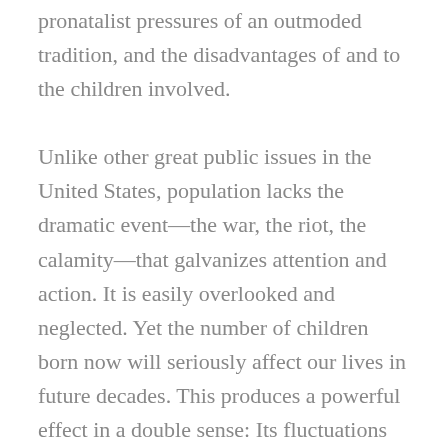pronatalist pressures of an outmoded tradition, and the disadvantages of and to the children involved.
Unlike other great public issues in the United States, population lacks the dramatic event—the war, the riot, the calamity—that galvanizes attention and action. It is easily overlooked and neglected. Yet the number of children born now will seriously affect our lives in future decades. This produces a powerful effect in a double sense: Its fluctuations can be strong and not easily changed; and its consequences are important for the welfare of future generations.
There is scarcely a facet of American life that is not